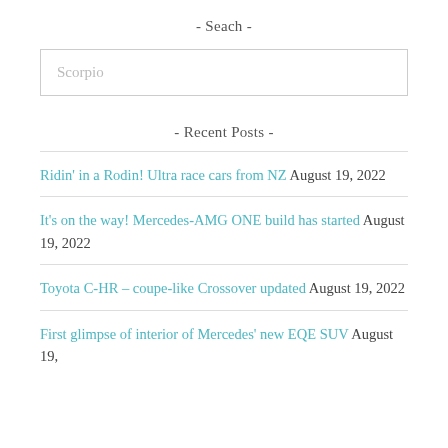- Seach -
Scorpio
- Recent Posts -
Ridin' in a Rodin! Ultra race cars from NZ August 19, 2022
It's on the way! Mercedes-AMG ONE build has started August 19, 2022
Toyota C-HR – coupe-like Crossover updated August 19, 2022
First glimpse of interior of Mercedes' new EQE SUV August 19, 2022